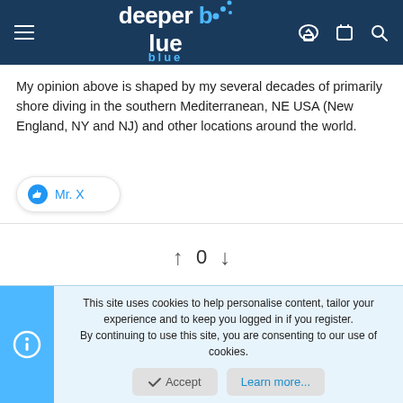deeper blue — navigation header
My opinion above is shaped by my several decades of primarily shore diving in the southern Mediterranean, NE USA (New England, NY and NJ) and other locations around the world.
👍 Mr. X
↑ 0 ↓
Mr. X
Forum Mentor  Staff member  Forum Mentor
This site uses cookies to help personalise content, tailor your experience and to keep you logged in if you register.
By continuing to use this site, you are consenting to our use of cookies.